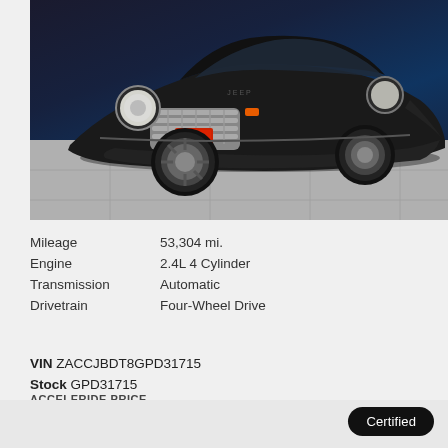[Figure (photo): Front three-quarter view of a black Jeep Renegade SUV parked on a gray tiled surface. The vehicle has a red dealer plate, chrome grille, and round headlights. Shot in a dealership-style setting.]
| Mileage | 53,304 mi. |
| Engine | 2.4L 4 Cylinder |
| Transmission | Automatic |
| Drivetrain | Four-Wheel Drive |
VIN ZACCJBDT8GPD31715
Stock GPD31715
ACCELERIDE PRICE
$21,239+
Certified